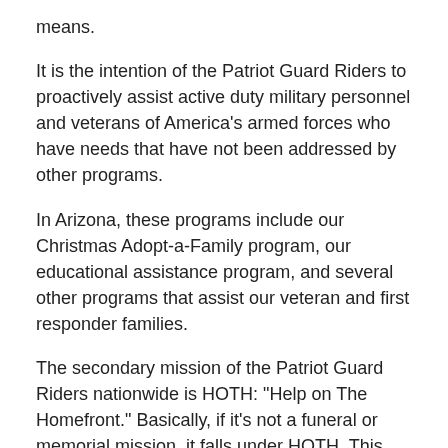means.
It is the intention of the Patriot Guard Riders to proactively assist active duty military personnel and veterans of America’s armed forces who have needs that have not been addressed by other programs.
In Arizona, these programs include our Christmas Adopt-a-Family program, our educational assistance program, and several other programs that assist our veteran and first responder families.
The secondary mission of the Patriot Guard Riders nationwide is HOTH: “Help on The Homefront.” Basically, if it’s not a funeral or memorial mission, it falls under HOTH. This includes Honor Flights, Snowball Express, the Christmas Adopt-a-Family program, scholarship programs, doing limited repairs to veteran and first responder homes at no charge, installing flagpoles at veterans’ homes.
This is a national effort. Each state develops their own HOTH